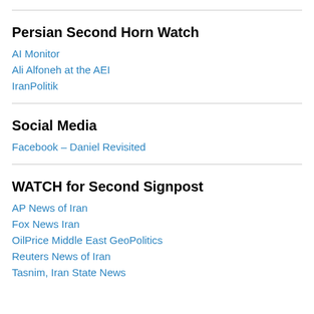Persian Second Horn Watch
AI Monitor
Ali Alfoneh at the AEI
IranPolitik
Social Media
Facebook – Daniel Revisited
WATCH for Second Signpost
AP News of Iran
Fox News Iran
OilPrice Middle East GeoPolitics
Reuters News of Iran
Tasnim, Iran State News